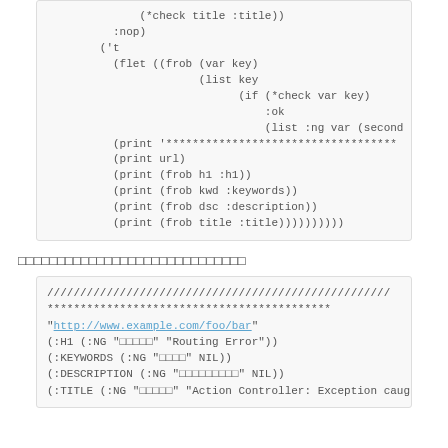[Figure (other): Code block showing Lisp/Clojure code with (*check title :title)), :nop), ('t (flet ((frob (var key) (list key (if (*check var key) :ok (list :ng var (second (as (print '***...*** (print url) (print (frob h1 :h1)) (print (frob kwd :keywords)) (print (frob dsc :description)) (print (frob title :title))))))))))]
□□□□□□□□□□□□□□□□□□□□□□□□□□□□□
[Figure (other): Code block showing output: //////.../// ****...*** "http://www.example.com/foo/bar" (:H1 (:NG "□□□□□" "Routing Error")) (:KEYWORDS (:NG "□□□□" NIL)) (:DESCRIPTION (:NG "□□□□□□□□□" NIL)) (:TITLE (:NG "□□□□□" "Action Controller: Exception caught"))]